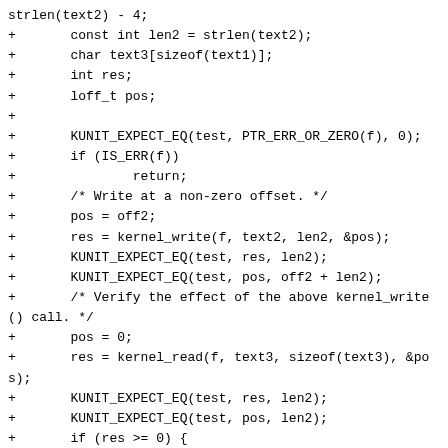strlen(text2) - 4;
+       const int len2 = strlen(text2);
+       char text3[sizeof(text1)];
+       int res;
+       loff_t pos;
+
+       KUNIT_EXPECT_EQ(test, PTR_ERR_OR_ZERO(f), 0);
+       if (IS_ERR(f))
+               return;
+       /* Write at a non-zero offset. */
+       pos = off2;
+       res = kernel_write(f, text2, len2, &pos);
+       KUNIT_EXPECT_EQ(test, res, len2);
+       KUNIT_EXPECT_EQ(test, pos, off2 + len2);
+       /* Verify the effect of the above kernel_write() call. */
+       pos = 0;
+       res = kernel_read(f, text3, sizeof(text3), &pos);
+       KUNIT_EXPECT_EQ(test, res, len2);
+       KUNIT_EXPECT_EQ(test, pos, len2);
+       if (res >= 0) {
+               text3[res] = '\0';
+               KUNIT_EXPECT_STREQ(test, text3, text2);
+       }
+       /* Write at offset zero. */
+       pos = off1;
+       res = kernel_write(f, text1, len1, &pos);